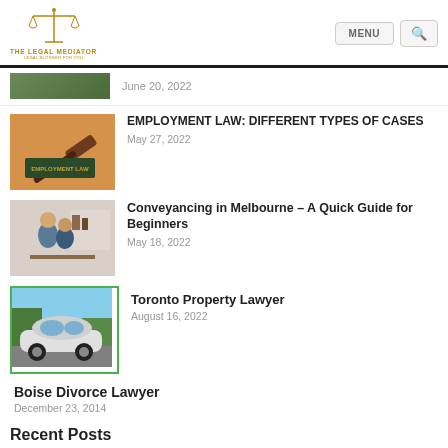[Figure (logo): The Legal Mediator logo with scales of justice icon in gold and text below]
June 20, 2022
[Figure (photo): Gavel and Employment Law nameplate on wooden desk]
EMPLOYMENT LAW: DIFFERENT TYPES OF CASES
May 27, 2022
[Figure (photo): Couple looking at document together]
Conveyancing in Melbourne – A Quick Guide for Beginners
May 18, 2022
[Figure (photo): White sports car parked in lot with green border]
Toronto Property Lawyer
August 16, 2022
Boise Divorce Lawyer
December 23, 2014
Recent Posts
Toronto Property Lawyer